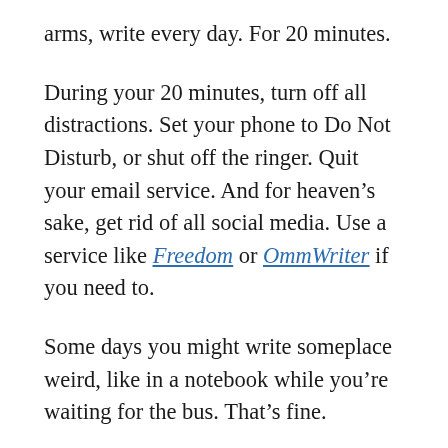arms, write every day. For 20 minutes.
During your 20 minutes, turn off all distractions. Set your phone to Do Not Disturb, or shut off the ringer. Quit your email service. And for heaven’s sake, get rid of all social media. Use a service like Freedom or OmmWriter if you need to.
Some days you might write someplace weird, like in a notebook while you’re waiting for the bus. That’s fine.
Some days you will definitely write